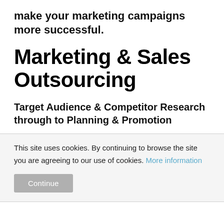make your marketing campaigns more successful.
Marketing & Sales Outsourcing
Target Audience & Competitor Research through to Planning & Promotion
This site uses cookies. By continuing to browse the site you are agreeing to our use of cookies. More information
Continue